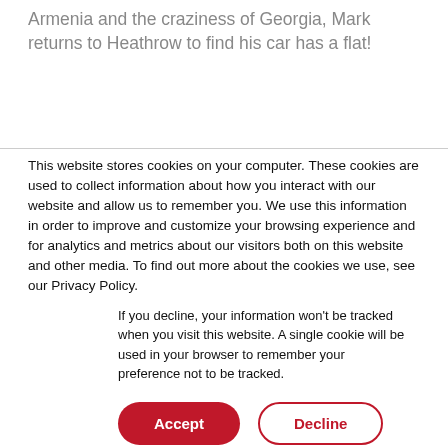Armenia and the craziness of Georgia, Mark returns to Heathrow to find his car has a flat!
This website stores cookies on your computer. These cookies are used to collect information about how you interact with our website and allow us to remember you. We use this information in order to improve and customize your browsing experience and for analytics and metrics about our visitors both on this website and other media. To find out more about the cookies we use, see our Privacy Policy.
If you decline, your information won't be tracked when you visit this website. A single cookie will be used in your browser to remember your preference not to be tracked.